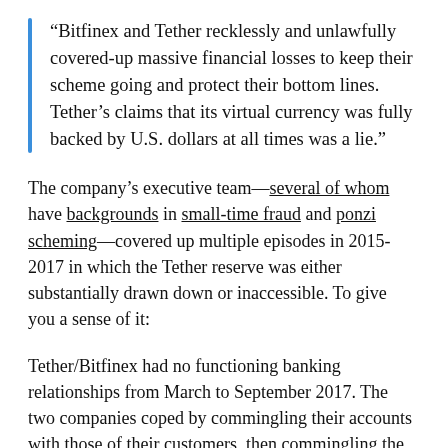“Bitfinex and Tether recklessly and unlawfully covered-up massive financial losses to keep their scheme going and protect their bottom lines. Tether’s claims that its virtual currency was fully backed by U.S. dollars at all times was a lie.”
The company’s executive team—several of whom have backgrounds in small-time fraud and ponzi scheming—covered up multiple episodes in 2015-2017 in which the Tether reserve was either substantially drawn down or inaccessible. To give you a sense of it:
Tether/Bitfinex had no functioning banking relationships from March to September 2017. The two companies coped by commingling their accounts with those of their customers, then commingling the two sister companies’ accounts, then entrusting $850